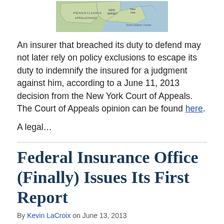[Figure (map): Partial map showing northeastern US states including Pennsylvania, New Jersey, New York area with Atlantic Ocean label]
An insurer that breached its duty to defend may not later rely on policy exclusions to escape its duty to indemnify the insured for a judgment against him, according to a June 11, 2013 decision from the New York Court of Appeals. The Court of Appeals opinion can be found here.
A legal...
Federal Insurance Office (Finally) Issues Its First Report
By Kevin LaCroix on June 13, 2013